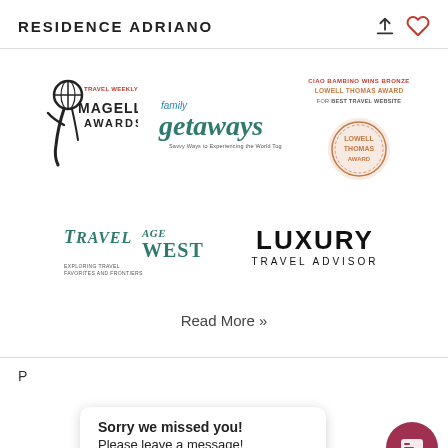RESIDENCE ADRIANO
[Figure (logo): Travel Weekly Magellan Awards logo — black figure holding globe with red 'TRAVEL WEEKLY' text]
[Figure (logo): family getaways logo in teal/green text]
[Figure (logo): Ciao Bambino wins Bronze Lowell Thomas Award for Best Travel Website — bronze medallion]
[Figure (logo): TravelAge West — Exploring Travel Favorites and Frontiers logo in teal]
[Figure (logo): LUXURY TRAVEL ADVISOR logo in bold black]
Read More »
Sorry we missed you! Please leave a message!